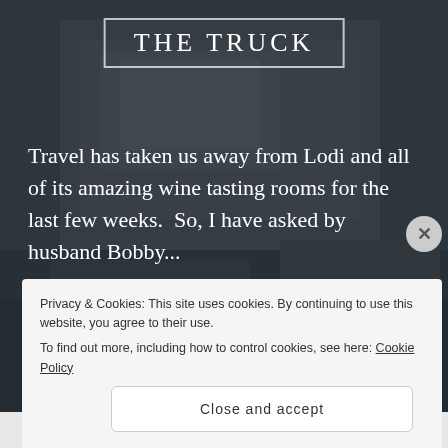[Figure (photo): Dark background photo of a vintage truck interior/exterior, overlaid with semi-transparent dark overlay]
THE TRUCK
Travel has taken us away from Lodi and all of its amazing wine tasting rooms for the last few weeks.  So, I have asked by husband Bobby...
READ MORE →
Privacy & Cookies: This site uses cookies. By continuing to use this website, you agree to their use.
To find out more, including how to control cookies, see here: Cookie Policy
Close and accept